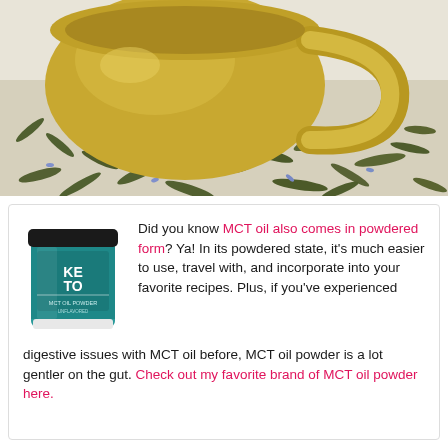[Figure (photo): Close-up photo of a yellow ceramic teacup and scattered dried green tea leaves with blue flowers on a white surface]
Did you know MCT oil also comes in powdered form? Ya! In its powdered state, it's much easier to use, travel with, and incorporate into your favorite recipes. Plus, if you've experienced digestive issues with MCT oil before, MCT oil powder is a lot gentler on the gut. Check out my favorite brand of MCT oil powder here.